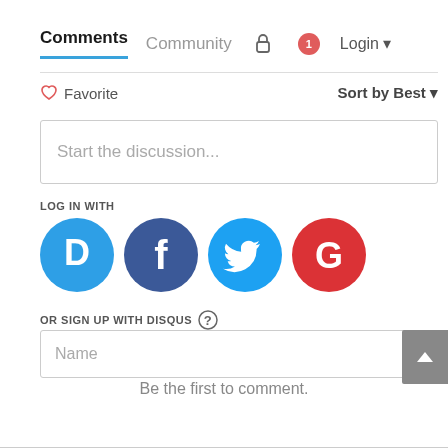Comments  Community  🔒  1  Login
♡ Favorite
Sort by Best ▾
Start the discussion...
LOG IN WITH
[Figure (infographic): Four social login buttons: Disqus (blue circle with D), Facebook (dark blue circle with f), Twitter (blue circle with bird), Google (red circle with G)]
OR SIGN UP WITH DISQUS ?
Name
Be the first to comment.